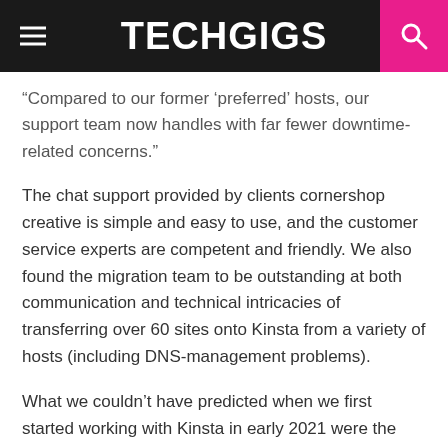TECHGIGS
“Compared to our former ‘preferred’ hosts, our support team now handles with far fewer downtime-related concerns.”
The chat support provided by clients cornershop creative is simple and easy to use, and the customer service experts are competent and friendly. We also found the migration team to be outstanding at both communication and technical intricacies of transferring over 60 sites onto Kinsta from a variety of hosts (including DNS-management problems).
What we couldn’t have predicted when we first started working with Kinsta in early 2021 were the modifications that Kinsta would implement, which